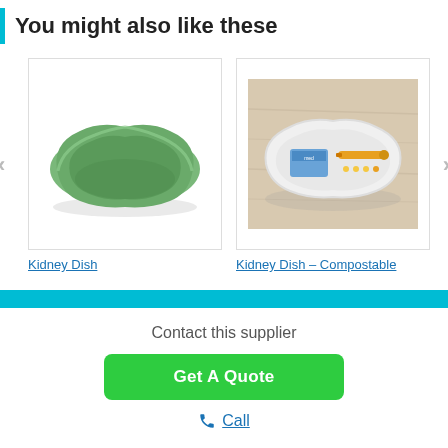You might also like these
[Figure (photo): Green ceramic kidney dish, viewed from slight angle showing the basin shape]
[Figure (photo): White compostable kidney dish on wooden surface with medical items inside including lancets and a package]
Kidney Dish
Kidney Dish - Compostable
Contact this supplier
Get A Quote
Call